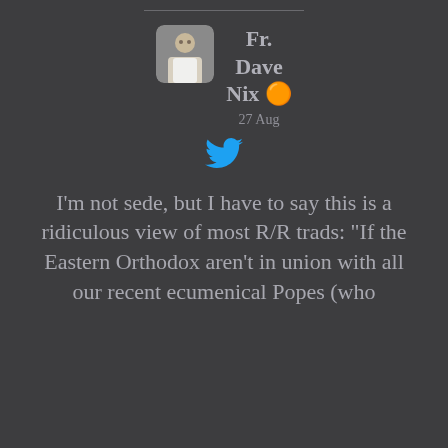[Figure (photo): Profile photo of Fr. Dave Nix, a man in a white shirt, square thumbnail]
Fr. Dave Nix 🟠
27 Aug
[Figure (logo): Twitter bird logo in blue]
I'm not sede, but I have to say this is a ridiculous view of most R/R trads: "If the Eastern Orthodox aren't in union with all our recent ecumenical Popes (who